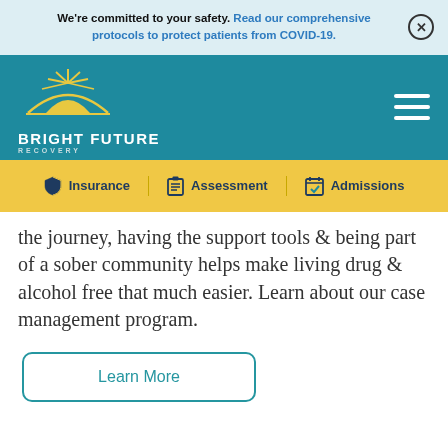We're committed to your safety. Read our comprehensive protocols to protect patients from COVID-19.
[Figure (logo): Bright Future Recovery logo with sun/horizon graphic on teal background]
Insurance | Assessment | Admissions
the journey, having the support tools & being part of a sober community helps make living drug & alcohol free that much easier. Learn about our case management program.
Learn More